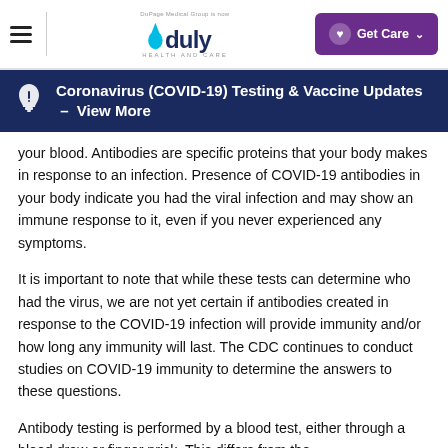Duly Health and Care — Get Care
Coronavirus (COVID-19) Testing & Vaccine Updates – View More
your blood. Antibodies are specific proteins that your body makes in response to an infection. Presence of COVID-19 antibodies in your body indicate you had the viral infection and may show an immune response to it, even if you never experienced any symptoms.
It is important to note that while these tests can determine who had the virus, we are not yet certain if antibodies created in response to the COVID-19 infection will provide immunity and/or how long any immunity will last. The CDC continues to conduct studies on COVID-19 immunity to determine the answers to these questions.
Antibody testing is performed by a blood test, either through a blood draw or finger prick. This differs from the